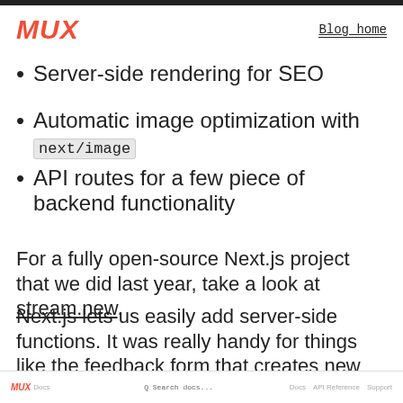MUX | Blog home
Server-side rendering for SEO
Automatic image optimization with next/image
API routes for a few piece of backend functionality
For a fully open-source Next.js project that we did last year, take a look at stream.new.
Next.js lets us easily add server-side functions. It was really handy for things like the feedback form that creates new records in an Airtable base.
[Figure (screenshot): Small footer/navigation bar showing MUX logo and navigation links including Docs, API Reference, Support]